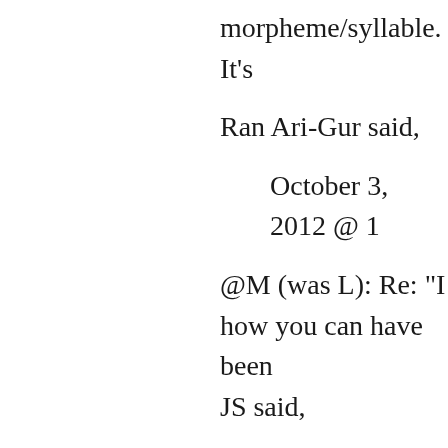morpheme/syllable. It's
Ran Ari-Gur said,
October 3, 2012 @ 1
@M (was L): Re: "I how you can have been JS said,
October 4, 2012 @ 1
Ah… I am not clear and Vietnamese word f tend to think mostly ab of processes (some of w seems you view these l